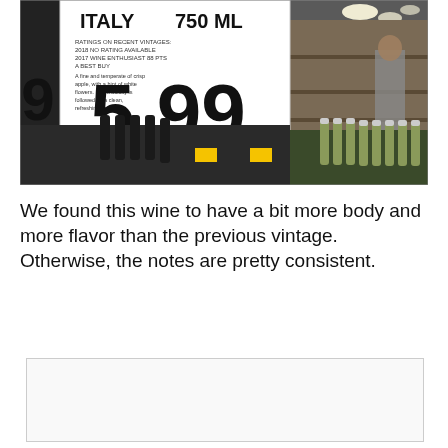[Figure (photo): Costco store shelf photo showing a price tag sign for an Italian wine (750 ML) priced at $5.99, with ratings and tasting notes visible on the sign. Rows of wine bottles are visible in the foreground and background.]
We found this wine to have a bit more body and more flavor than the previous vintage. Otherwise, the notes are pretty consistent.